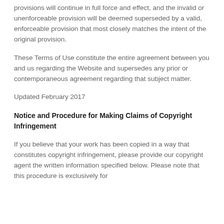provisions will continue in full force and effect, and the invalid or unenforceable provision will be deemed superseded by a valid, enforceable provision that most closely matches the intent of the original provision.
These Terms of Use constitute the entire agreement between you and us regarding the Website and supersedes any prior or contemporaneous agreement regarding that subject matter.
Updated February 2017
Notice and Procedure for Making Claims of Copyright Infringement
If you believe that your work has been copied in a way that constitutes copyright infringement, please provide our copyright agent the written information specified below. Please note that this procedure is exclusively for